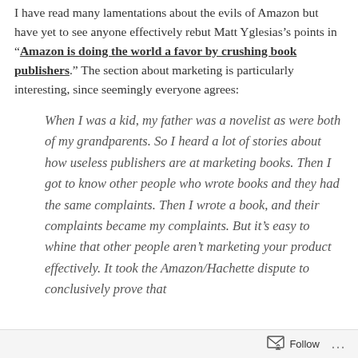I have read many lamentations about the evils of Amazon but have yet to see anyone effectively rebut Matt Yglesias's points in “Amazon is doing the world a favor by crushing book publishers.” The section about marketing is particularly interesting, since seemingly everyone agrees:
When I was a kid, my father was a novelist as were both of my grandparents. So I heard a lot of stories about how useless publishers are at marketing books. Then I got to know other people who wrote books and they had the same complaints. Then I wrote a book, and their complaints became my complaints. But it’s easy to whine that other people aren’t marketing your product effectively. It took the Amazon/Hachette dispute to conclusively prove that
Follow ...